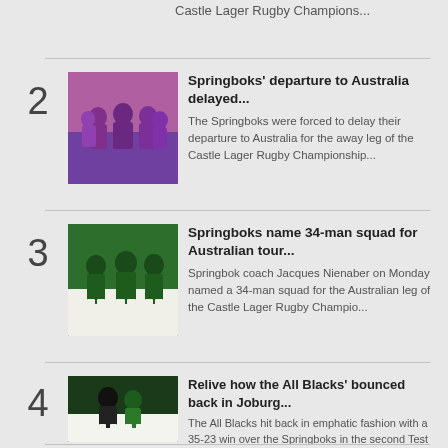Castle Lager Rugby Champions...
2 - Springboks' departure to Australia delayed... The Springboks were forced to delay their departure to Australia for the away leg of the Castle Lager Rugby Championship...
3 - Springboks name 34-man squad for Australian tour... Springbok coach Jacques Nienaber on Monday named a 34-man squad for the Australian leg of the Castle Lager Rugby Champio...
4 - Relive how the All Blacks' bounced back in Joburg... The All Blacks hit back in emphatic fashion with a 35-23 win over the Springboks in the second Test of the Castle Lager ...